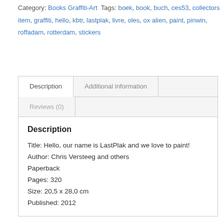Category: Books Graffiti-Art Tags: boek, book, buch, ces53, collectors item, graffiti, hello, kbtr, lastplak, livre, oles, ox alien, paint, pinwin, roffadam, rotterdam, stickers
Description
Additional information
Reviews (0)
Description
Title: Hello, our name is LastPlak and we love to paint!
Author: Chris Versteeg and others
Paperback
Pages: 320
Size: 20,5 x 28,0 cm
Published: 2012